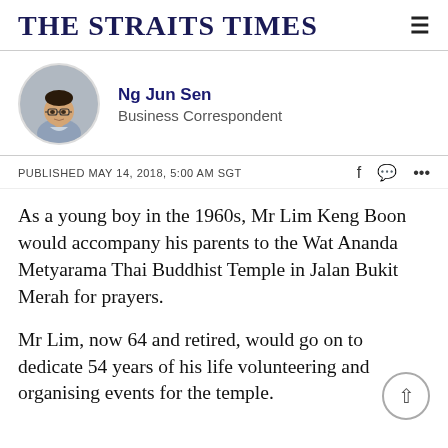THE STRAITS TIMES
[Figure (photo): Headshot photo of Ng Jun Sen, Business Correspondent]
Ng Jun Sen
Business Correspondent
PUBLISHED MAY 14, 2018, 5:00 AM SGT
As a young boy in the 1960s, Mr Lim Keng Boon would accompany his parents to the Wat Ananda Metyarama Thai Buddhist Temple in Jalan Bukit Merah for prayers.
Mr Lim, now 64 and retired, would go on to dedicate 54 years of his life volunteering and organising events for the temple.